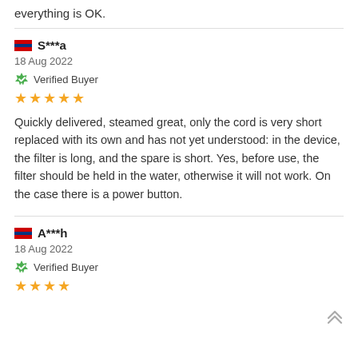everything is OK.
S***a
18 Aug 2022
Verified Buyer
★★★★★
Quickly delivered, steamed great, only the cord is very short replaced with its own and has not yet understood: in the device, the filter is long, and the spare is short. Yes, before use, the filter should be held in the water, otherwise it will not work. On the case there is a power button.
A***h
18 Aug 2022
Verified Buyer